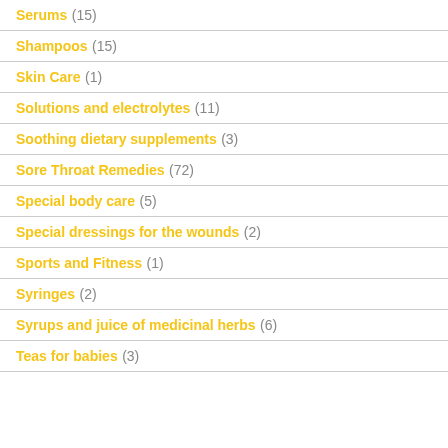Serums (15)
Shampoos (15)
Skin Care (1)
Solutions and electrolytes (11)
Soothing dietary supplements (3)
Sore Throat Remedies (72)
Special body care (5)
Special dressings for the wounds (2)
Sports and Fitness (1)
Syringes (2)
Syrups and juice of medicinal herbs (6)
Teas for babies (3)